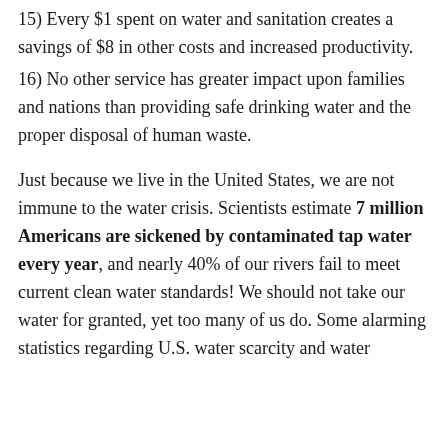15) Every $1 spent on water and sanitation creates a savings of $8 in other costs and increased productivity.
16) No other service has greater impact upon families and nations than providing safe drinking water and the proper disposal of human waste.
Just because we live in the United States, we are not immune to the water crisis. Scientists estimate 7 million Americans are sickened by contaminated tap water every year, and nearly 40% of our rivers fail to meet current clean water standards! We should not take our water for granted, yet too many of us do. Some alarming statistics regarding U.S. water scarcity and water…